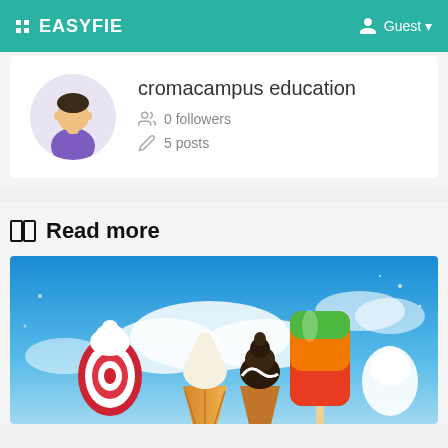EASYFIE | Guest
[Figure (other): User profile card showing avatar of a person with dark hair, purple shirt, with name 'cromacampus education', 0 followers, 5 posts]
Read more
[Figure (photo): Colorful ice cream and popsicle image against a blue sky with clouds background]